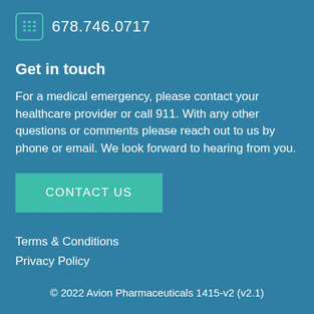678.746.0717
Get in touch
For a medical emergency, please contact your healthcare provider or call 911. With any other questions or comments please reach out to us by phone or email. We look forward to hearing from you.
CONTACT US
Terms & Conditions
Privacy Policy
© 2022 Avion Pharmaceuticals 1415-v2 (v2.1)